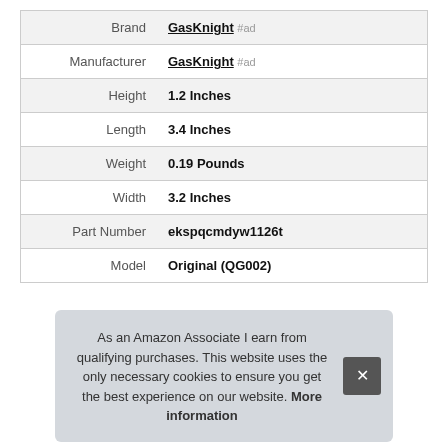|  |  |
| --- | --- |
| Brand | GasKnight #ad |
| Manufacturer | GasKnight #ad |
| Height | 1.2 Inches |
| Length | 3.4 Inches |
| Weight | 0.19 Pounds |
| Width | 3.2 Inches |
| Part Number | ekspqcmdyw1126t |
| Model | Original (QG002) |
As an Amazon Associate I earn from qualifying purchases. This website uses the only necessary cookies to ensure you get the best experience on our website. More information